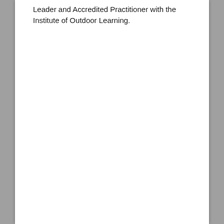Leader and Accredited Practitioner with the Institute of Outdoor Learning.